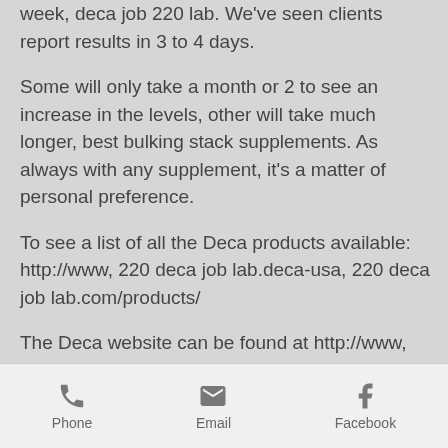week, deca job 220 lab. We've seen clients report results in 3 to 4 days.
Some will only take a month or 2 to see an increase in the levels, other will take much longer, best bulking stack supplements. As always with any supplement, it's a matter of personal preference.
To see a list of all the Deca products available: http://www, 220 deca job lab.deca-usa, 220 deca job lab.com/products/
The Deca website can be found at http://www, gtx sarms for sale.deca-usa, gtx sarms for sale.com/
Follow the Deca on Twitter: @Deca_usa
Phone  Email  Facebook